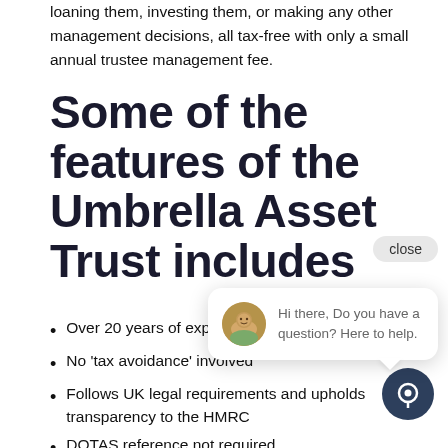loaning them, investing them, or making any other management decisions, all tax-free with only a small annual trustee management fee.
Some of the features of the Umbrella Asset Trust includes
Over 20 years of experience for UK residents
No 'tax avoidance' involved
Follows UK legal requirements and upholds transparency to the HMRC
DOTAS reference not required